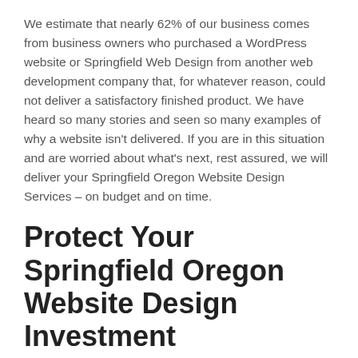We estimate that nearly 62% of our business comes from business owners who purchased a WordPress website or Springfield Web Design from another web development company that, for whatever reason, could not deliver a satisfactory finished product. We have heard so many stories and seen so many examples of why a website isn't delivered. If you are in this situation and are worried about what's next, rest assured, we will deliver your Springfield Oregon Website Design Services – on budget and on time.
Protect Your Springfield Oregon Website Design Investment
Our web design experts also have helped clients determine a strategy to: